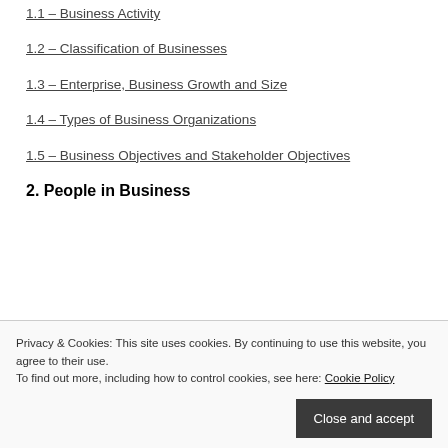1.1 – Business Activity
1.2 – Classification of Businesses
1.3 – Enterprise, Business Growth and Size
1.4 – Types of Business Organizations
1.5 – Business Objectives and Stakeholder Objectives
2. People in Business
Privacy & Cookies: This site uses cookies. By continuing to use this website, you agree to their use. To find out more, including how to control cookies, see here: Cookie Policy